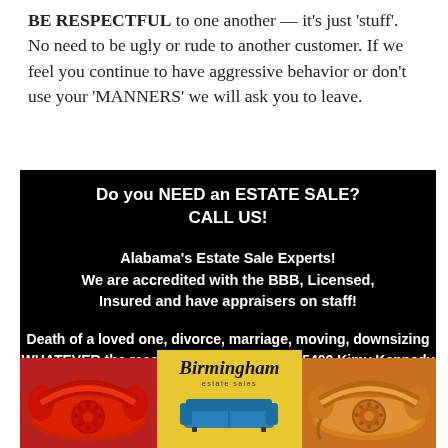BE RESPECTFUL to one another — it's just 'stuff'.  No need to be ugly or rude to another customer. If we feel you continue to have aggressive behavior or don't use your 'MANNERS' we will ask you to leave.
[Figure (infographic): Black background advertisement box for Birmingham Estate Sales. Text reads: 'Do you NEED an ESTATE SALE? CALL US!' followed by 'Alabama's Estate Sale Experts! We are accredited with the BBB, Licensed, Insured and have appraisers on staff!' and 'Death of a loved one, divorce, marriage, moving, downsizing WHATEVER the reason – call us. 205-249-5400 Kimy Kennedy'. Bottom row shows a red telephone, a yellow Birmingham estate sales logo with blue sofa, and an orange telephone.]